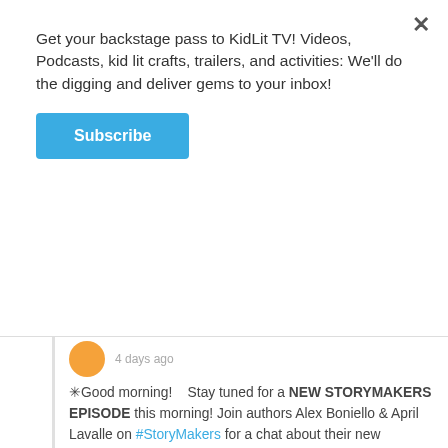Get your backstage pass to KidLit TV! Videos, Podcasts, kid lit crafts, trailers, and activities: We'll do the digging and deliver gems to your inbox!
Subscribe
☀Good morning!    Stay tuned for a NEW STORYMAKERS EPISODE this morning! Join authors Alex Boniello & April Lavalle on #StoryMakers for a chat about their new #picturebook A CASE OF THE ZAPS, learn about PI (the number and the story character!), & give paced belly breathing a try!       Click to watch from 7AM ET: www.kidlit.tv/StoryMakersAlexBoniello&AprilLavalle